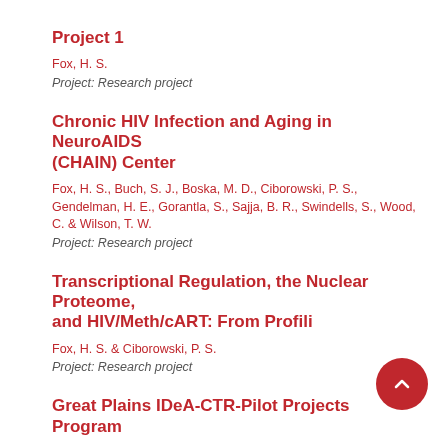Project 1
Fox, H. S.
Project: Research project
Chronic HIV Infection and Aging in NeuroAIDS (CHAIN) Center
Fox, H. S., Buch, S. J., Boska, M. D., Ciborowski, P. S., Gendelman, H. E., Gorantla, S., Sajja, B. R., Swindells, S., Wood, C. & Wilson, T. W.
Project: Research project
Transcriptional Regulation, the Nuclear Proteome, and HIV/Meth/cART: From Profili
Fox, H. S. & Ciborowski, P. S.
Project: Research project
Great Plains IDeA-CTR-Pilot Projects Program